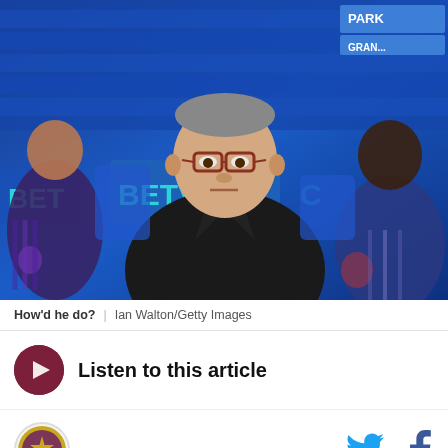[Figure (photo): A man in glasses and dark suit with maroon tie sits in the dugout in front of blue seats with BETVIC branding, watched by football players behind him including one in Aston Villa kit]
How'd he do? | Ian Walton/Getty Images
Listen to this article
[Figure (logo): Aston Villa football club crest logo]
[Figure (logo): Twitter bird icon]
[Figure (logo): Facebook f icon]